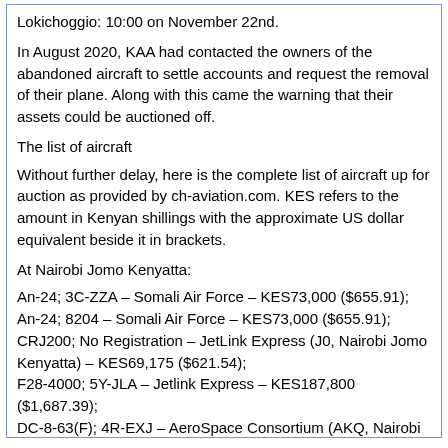Lokichoggio: 10:00 on November 22nd.
In August 2020, KAA had contacted the owners of the abandoned aircraft to settle accounts and request the removal of their plane. Along with this came the warning that their assets could be auctioned off.
The list of aircraft
Without further delay, here is the complete list of aircraft up for auction as provided by ch-aviation.com. KES refers to the amount in Kenyan shillings with the approximate US dollar equivalent beside it in brackets.
At Nairobi Jomo Kenyatta:
An-24; 3C-ZZA – Somali Air Force – KES73,000 ($655.91);
An-24; 8204 – Somali Air Force – KES73,000 ($655.91);
CRJ200; No Registration – JetLink Express (J0, Nairobi Jomo Kenyatta) – KES69,175 ($621.54);
F28-4000; 5Y-JLA – Jetlink Express – KES187,800 ($1,687.39);
DC-8-63(F); 4R-EXJ – AeroSpace Consortium (AKQ, Nairobi Jomo Kenyatta) – KES406,800 ($3,655.10);
DC-9-10; 5Y-XXA – EastAfrican (B5, Nairobi Jomo Kenyatta) (formerly Fly SAX (B5, Nairobi Jomo Kenyatta) – KES111,500 ($1,001.83);
BAe 748; 5Y-TCO – 748 Air Services (FE, Nairobi Wilson) – KES181,650 ($1,632.13);
L1011-100; TZ-MHI – Askari Aviation (AAS, Islamabad